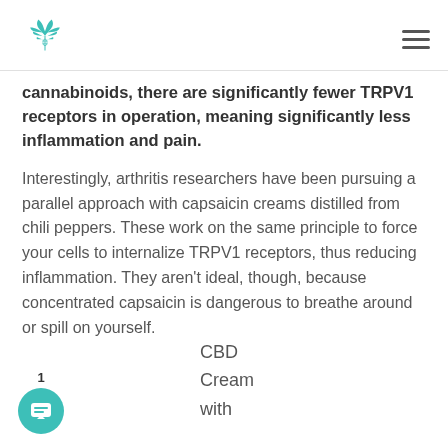[Cannabis/CBD logo] [hamburger menu]
cannabinoids, there are significantly fewer TRPV1 receptors in operation, meaning significantly less inflammation and pain.
Interestingly, arthritis researchers have been pursuing a parallel approach with capsaicin creams distilled from chili peppers. These work on the same principle to force your cells to internalize TRPV1 receptors, thus reducing inflammation. They aren’t ideal, though, because concentrated capsaicin is dangerous to breathe around or spill on yourself.
CBD Cream with